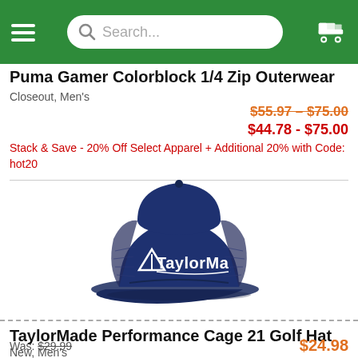Navigation bar with hamburger menu, search bar, and cart icon
Puma Gamer Colorblock 1/4 Zip Outerwear
Closeout, Men's
$55.97 – $75.00
$44.78 - $75.00
Stack & Save - 20% Off Select Apparel + Additional 20% with Code: hot20
[Figure (photo): Navy blue TaylorMade Performance Cage 21 Golf Hat (trucker-style cap with mesh back), shown from front-left angle with TaylorMade logo in white on the front panel]
TaylorMade Performance Cage 21 Golf Hat
New, Men's
Was: $29.99
$24.98